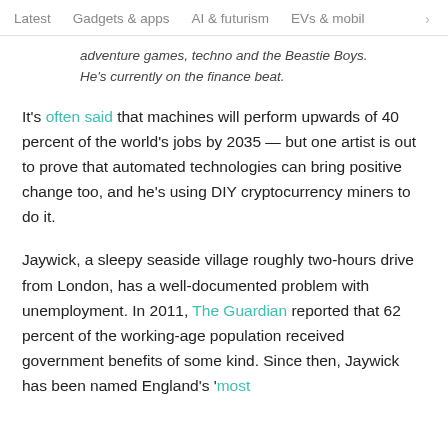Latest   Gadgets & apps   AI & futurism   EVs & mobil  >
adventure games, techno and the Beastie Boys. He's currently on the finance beat.
It's often said that machines will perform upwards of 40 percent of the world's jobs by 2035 — but one artist is out to prove that automated technologies can bring positive change too, and he's using DIY cryptocurrency miners to do it.
Jaywick, a sleepy seaside village roughly two-hours drive from London, has a well-documented problem with unemployment. In 2011, The Guardian reported that 62 percent of the working-age population received government benefits of some kind. Since then, Jaywick has been named England's 'most